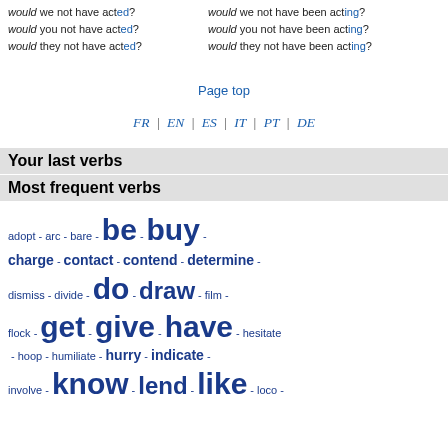would we not have acted? would you not have acted? would they not have acted? | would we not have been acting? would you not have been acting? would they not have been acting?
Page top
FR | EN | ES | IT | PT | DE
Your last verbs
Most frequent verbs
adopt - arc - bare - be - buy - charge - contact - contend - determine - dismiss - divide - do - draw - film - flock - get - give - have - hesitate - hoop - humiliate - hurry - indicate - involve - know - lend - like - loco -